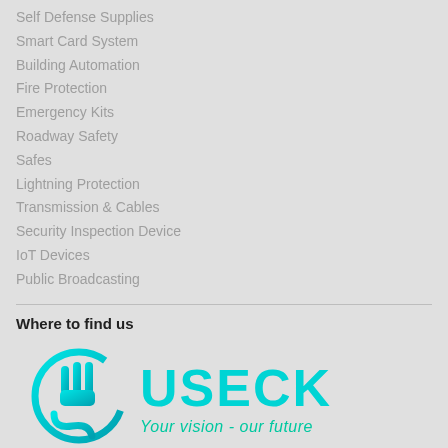Self Defense Supplies
Smart Card System
Building Automation
Fire Protection
Emergency Kits
Roadway Safety
Safes
Lightning Protection
Transmission & Cables
Security Inspection Device
IoT Devices
Public Broadcasting
Where to find us
[Figure (logo): USECK company logo - circular icon with hand/shield symbol in cyan gradient and USECK text with tagline 'Your vision - our future']